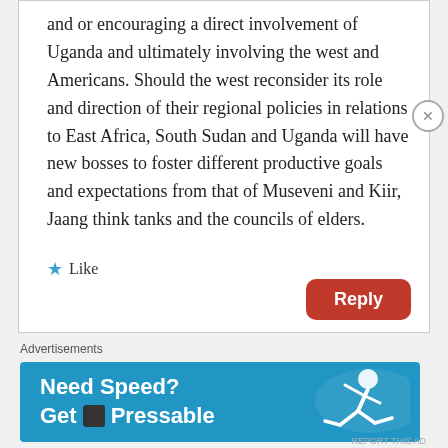and or encouraging a direct involvement of Uganda and ultimately involving the west and Americans. Should the west reconsider its role and direction of their regional policies in relations to East Africa, South Sudan and Uganda will have new bosses to foster different productive goals and expectations from that of Museveni and Kiir, Jaang think tanks and the councils of elders.
Like
Reply
Advertisements
[Figure (infographic): Advertisement banner for Pressable hosting service with blue background, running figure, and text 'Need Speed? Get Pressable']